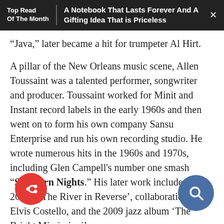Top Read Of The Month | A Notebook That Lasts Forever And A Gifting Idea That is Priceless
“Java,” later became a hit for trumpeter Al Hirt.
A pillar of the New Orleans music scene, Allen Toussaint was a talented performer, songwriter and producer. Toussaint worked for Minit and Instant record labels in the early 1960s and then went on to form his own company Sansu Enterprise and run his own recording studio. He wrote numerous hits in the 1960s and 1970s, including Glen Campell’s number one smash “Southern Nights.” His later work includes 2006’s ‘The River in Reverse’, collaboration with Elvis Costello, and the 2009 jazz album ‘The Bright Mississippi’.
4. “Remember why you started. Never give up! You will find a way.”